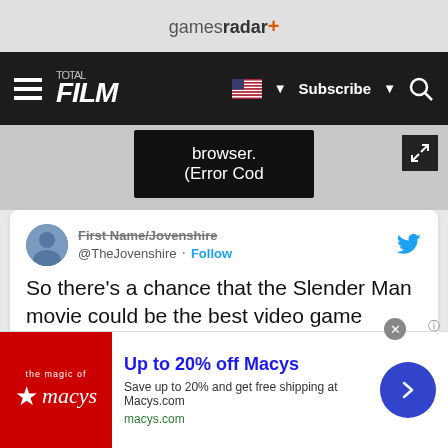gamesradar+
[Figure (screenshot): Total Film website navigation bar with hamburger menu, FILM logo, US flag subscribe button, and search icon on dark background]
[Figure (screenshot): Error tooltip overlay showing 'browser. (Error Cod']
[Figure (screenshot): Tweet by @TheJovenshire: So there's a chance that the Slender Man movie could be the best video game adaptation into a movie? What do you think? #CanYouSeeHim — See more]
[Figure (screenshot): Tweet card by Madison Iseman @madisoniseman with Follow link]
[Figure (screenshot): Advertisement banner: Up to 20% off Macys — Save up to 20% and get free shipping at Macys.com — macys.com]